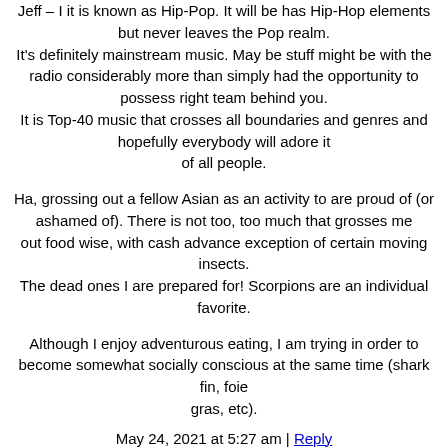Jeff – I it is known as Hip-Pop. It will be has Hip-Hop elements but never leaves the Pop realm. It's definitely mainstream music. May be stuff might be with the radio considerably more than simply had the opportunity to possess right team behind you. It is Top-40 music that crosses all boundaries and genres and hopefully everybody will adore it of all people.
Ha, grossing out a fellow Asian as an activity to are proud of (or ashamed of). There is not too, too much that grosses me out food wise, with cash advance exception of certain moving insects. The dead ones I are prepared for! Scorpions are an individual favorite.
Although I enjoy adventurous eating, I am trying in order to become somewhat socially conscious at the same time (shark fin, foie gras, etc).
May 24, 2021 at 5:27 am | Reply
54. RV Couches California
I'm more than happy to uncover this great site. I want to to